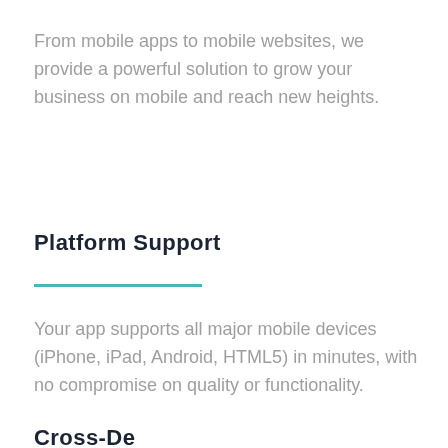From mobile apps to mobile websites, we provide a powerful solution to grow your business on mobile and reach new heights.
Platform Support
Your app supports all major mobile devices (iPhone, iPad, Android, HTML5) in minutes, with no compromise on quality or functionality.
Cross-Device